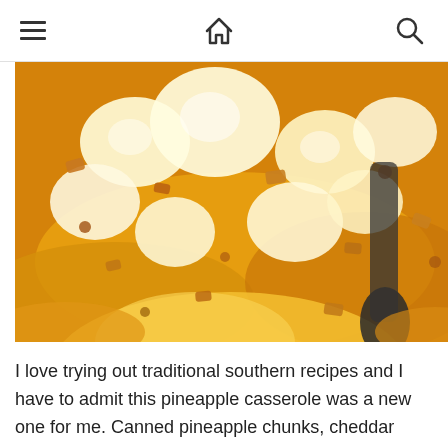Navigation bar with hamburger menu, home icon, and search icon
[Figure (photo): Close-up photo of pineapple casserole with golden pineapple chunks, melted cheese, and cracker crumbs being scooped with a spoon]
I love trying out traditional southern recipes and I have to admit this pineapple casserole was a new one for me. Canned pineapple chunks, cheddar cheese, flour, sugar, butter, and Ritz crackers are all baked together into a sweet dish that pairs perfectly with a few slices of